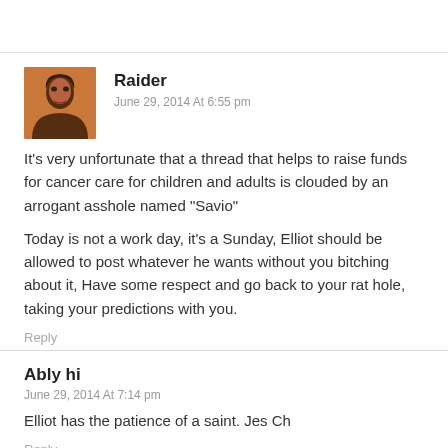Raider
June 29, 2014 At 6:55 pm
It's very unfortunate that a thread that helps to raise funds for cancer care for children and adults is clouded by an arrogant asshole named "Savio"

Today is not a work day, it's a Sunday, Elliot should be allowed to post whatever he wants without you bitching about it, Have some respect and go back to your rat hole, taking your predictions with you.
Reply
Ably hi
June 29, 2014 At 7:14 pm
Elliot has the patience of a saint. Jes Ch
Reply